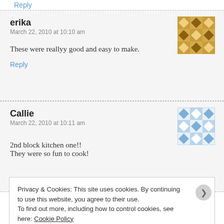Reply
erika
March 22, 2010 at 10:10 am
These were reallyy good and easy to make.
Reply
Callie
March 22, 2010 at 10:11 am
2nd block kitchen one!!
They were so fun to cook!
Privacy & Cookies: This site uses cookies. By continuing to use this website, you agree to their use.
To find out more, including how to control cookies, see here: Cookie Policy
Close and accept